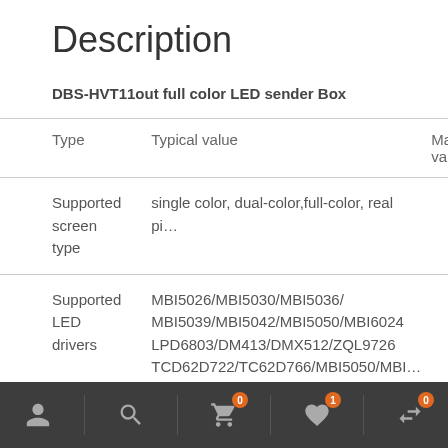Description
DBS-HVT11out full color LED sender Box
| Type | Typical value | Max value |
| --- | --- | --- |
| Supported screen type | single color, dual-color,full-color, real pi… |  |
| Supported LED drivers | MBI5026/MBI5030/MBI5036/
MBI5039/MBI5042/MBI5050/MBI6024
LPD6803/DM413/DMX512/ZQL9726
TCD62D722/TC62D766/MBI5050/MBI… |  |
Navigation icons: user, search, cart (0), wishlist (1), compare (0)